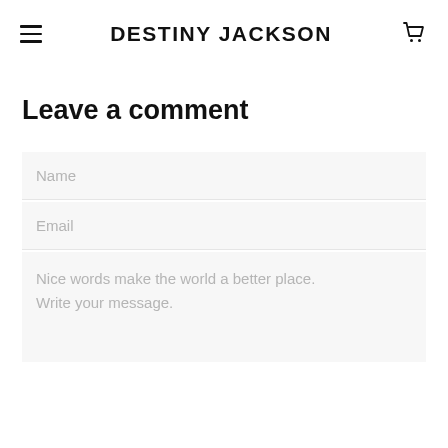DESTINY JACKSON
Leave a comment
Name
Email
Nice words make the world a better place. Write your message.